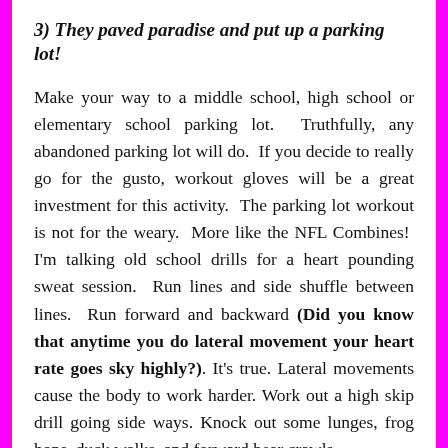3) They paved paradise and put up a parking lot!
Make your way to a middle school, high school or elementary school parking lot.  Truthfully, any abandoned parking lot will do.  If you decide to really go for the gusto, workout gloves will be a great investment for this activity.  The parking lot workout is not for the weary.  More like the NFL Combines!  I'm talking old school drills for a heart pounding sweat session.  Run lines and side shuffle between lines.  Run forward and backward (Did you know that anytime you do lateral movement your heart rate goes sky highly?). It's true. Lateral movements cause the body to work harder. Work out a high skip drill going side ways. Knock out some lunges, frog hops, duck walks, and forward bear crawls.